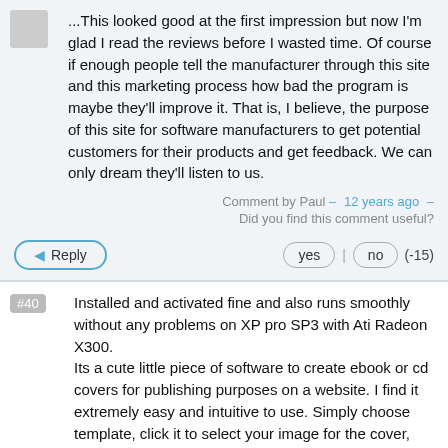...This looked good at the first impression but now I'm glad I read the reviews before I wasted time. Of course if enough people tell the manufacturer through this site and this marketing process how bad the program is maybe they'll improve it. That is, I believe, the purpose of this site for software manufacturers to get potential customers for their products and get feedback. We can only dream they'll listen to us.
Comment by Paul – 12 years ago – Did you find this comment useful?
Reply | yes | no | (-15)
Installed and activated fine and also runs smoothly without any problems on XP pro SP3 with Ati Radeon X300. Its a cute little piece of software to create ebook or cd covers for publishing purposes on a website. I find it extremely easy and intuitive to use. Simply choose template, click it to select your image for the cover, choose shadow, lightning etc., and use the right mouse key to rotate it. Once satisfied, render and finally save as png, or jpg etc.